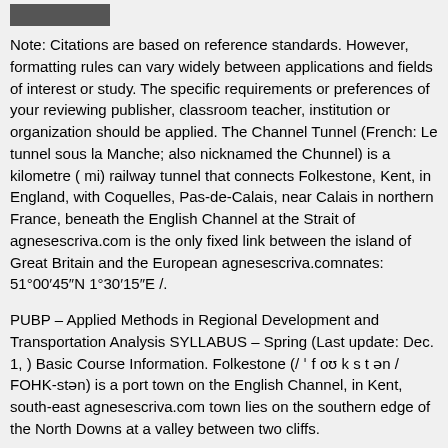[Figure (photo): Small image/thumbnail in the top-left corner]
Note: Citations are based on reference standards. However, formatting rules can vary widely between applications and fields of interest or study. The specific requirements or preferences of your reviewing publisher, classroom teacher, institution or organization should be applied. The Channel Tunnel (French: Le tunnel sous la Manche; also nicknamed the Chunnel) is a kilometre ( mi) railway tunnel that connects Folkestone, Kent, in England, with Coquelles, Pas-de-Calais, near Calais in northern France, beneath the English Channel at the Strait of agnesescriva.com is the only fixed link between the island of Great Britain and the European agnesescriva.comnates: 51°00′45″N 1°30′15″E /.
PUBP – Applied Methods in Regional Development and Transportation Analysis SYLLABUS – Spring (Last update: Dec. 1, ) Basic Course Information. Folkestone (/ ˈ f oʊ k s t ən / FOHK-stən) is a port town on the English Channel, in Kent, south-east agnesescriva.com town lies on the southern edge of the North Downs at a valley between two cliffs.
It was an important harbour and shipping port for most of the 19th and 20th agnesescriva.comy: England. Jun 26,  · This